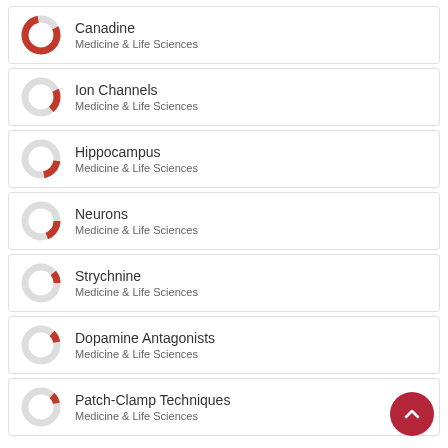Canadine
Medicine & Life Sciences
Ion Channels
Medicine & Life Sciences
Hippocampus
Medicine & Life Sciences
Neurons
Medicine & Life Sciences
Strychnine
Medicine & Life Sciences
Dopamine Antagonists
Medicine & Life Sciences
Patch-Clamp Techniques
Medicine & Life Sciences